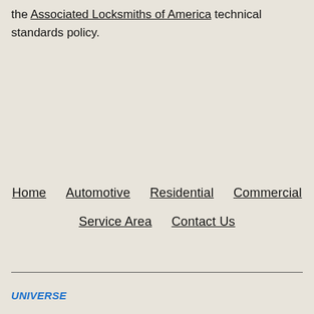the Associated Locksmiths of America technical standards policy.
Home
Automotive
Residential
Commercial
Service Area
Contact Us
UNIVERSE